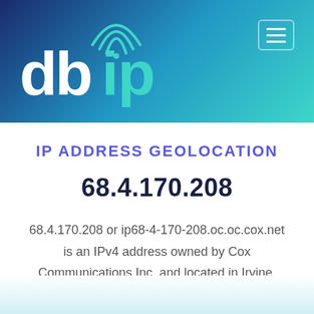[Figure (logo): db-ip logo with wifi signal icon above the 'i', white text for 'db' and teal text for 'ip' on gradient blue background, with hamburger menu icon in top right]
IP ADDRESS GEOLOCATION
68.4.170.208
68.4.170.208 or ip68-4-170-208.oc.oc.cox.net is an IPv4 address owned by Cox Communications Inc. and located in Irvine, California, United States